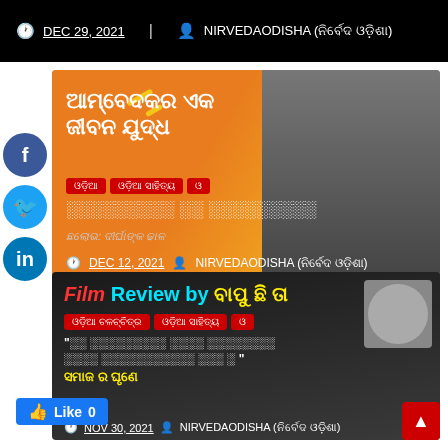DEC 29, 2021  NIRVEDAODISHA (ନିର୍ବେଦ ଓଡ଼ିଶା)
[Figure (photo): Article card with orange background showing Odia text 'ଆମ୍ବେଦକର ଏକ ଜୀବନ ଯୁଦ୍ଧ' and tags, with a man standing beside a Buddha painting, dated DEC 12, 2021]
[Figure (photo): Film review card with dark background showing 'Film Review by ବାପୁ ଛି ତା' with tags and Odia quote text, dated NOV 30, 2021, with a reviewer photo inset]